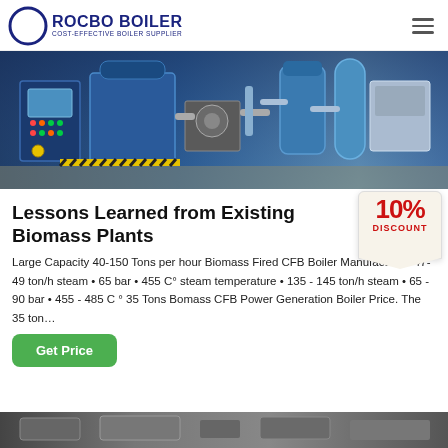ROCBO BOILER | COST-EFFECTIVE BOILER SUPPLIER
[Figure (photo): Industrial biomass boiler machinery with blue control panel, piping, and tanks in a facility]
Lessons Learned from Existing Biomass Plants
[Figure (infographic): 10% DISCOUNT badge/stamp graphic]
Large Capacity 40-150 Tons per hour Biomass Fired CFB Boiler Manufacturer. 47- 49 ton/h steam • 65 bar • 455 C° steam temperature • 135 - 145 ton/h steam • 65 - 90 bar • 455 - 485 C ° 35 Tons Bomass CFB Power Generation Boiler Price. The 35 ton…
[Figure (photo): Partial view of additional industrial boiler equipment at bottom of page]